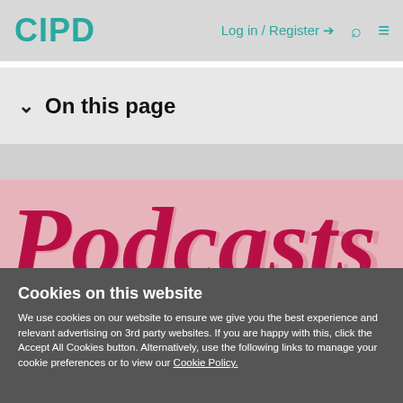CIPD | Log in / Register | Search | Menu
On this page
[Figure (photo): Podcast banner image with large decorative text 'Podcasts' in crimson/red on a pink background]
Cookies on this website
We use cookies on our website to ensure we give you the best experience and relevant advertising on 3rd party websites. If you are happy with this, click the Accept All Cookies button. Alternatively, use the following links to manage your cookie preferences or to view our Cookie Policy.